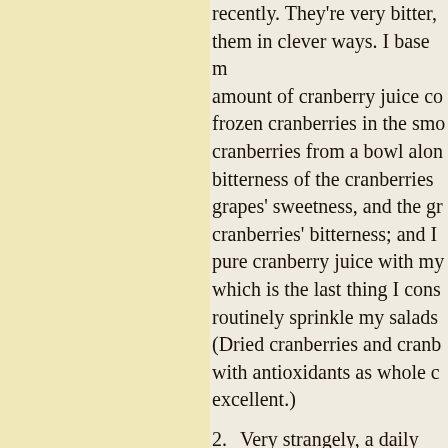recently. They're very bitter, them in clever ways. I base m amount of cranberry juice co frozen cranberries in the smo cranberries from a bowl alon bitterness of the cranberries grapes' sweetness, and the gr cranberries' bitterness; and I pure cranberry juice with my which is the last thing I cons routinely sprinkle my salads (Dried cranberries and cranb with antioxidants as whole c excellent.)
Very strangely, a daily vineg Start with 12 ounces of unfla tablespoons of organic apple of lemon juice—the lemon j take the vinegar-y edge off th